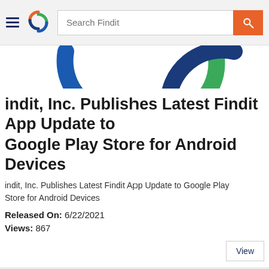Search Findit
[Figure (logo): Findit Inc. logo — circular icon with blue, green, and orange interlocking arcs, partially visible at top]
Findit, Inc. Publishes Latest Findit App Update to Google Play Store for Android Devices
Findit, Inc. Publishes Latest Findit App Update to Google Play Store for Android Devices
Released On: 6/22/2021
Views: 867
[Figure (logo): Findit Inc. logo partially visible at bottom left — orange and yellow curved stripes; purple/magenta arc at right; Google G and Apple logo store icons shown in box at bottom right]